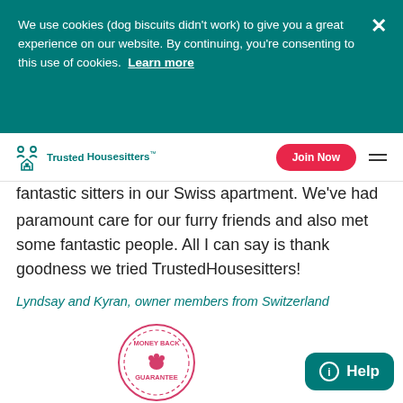We use cookies (dog biscuits didn't work) to give you a great experience on our website. By continuing, you're consenting to this use of cookies.  Learn more
Trusted Housesitters™  |  Join Now  |  Menu
fantastic sitters in our Swiss apartment. We've had paramount care for our furry friends and also met some fantastic people. All I can say is thank goodness we tried TrustedHousesitters!
Lyndsay and Kyran, owner members from Switzerland
[Figure (other): Money Back Guarantee circular badge/stamp in pink/red]
[Figure (other): Help button - teal rounded rectangle with info icon and 'Help' text]